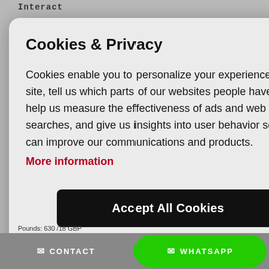Interact
Cookies & Privacy
Cookies enable you to personalize your experience on our site, tell us which parts of our websites people have visited, help us measure the effectiveness of ads and web searches, and give us insights into user behavior so we can improve our communications and products.
More information
Accept All Cookies
Customise Cookies
CONTACT   WHATSAPP
Pounds: 630 /18 GBP